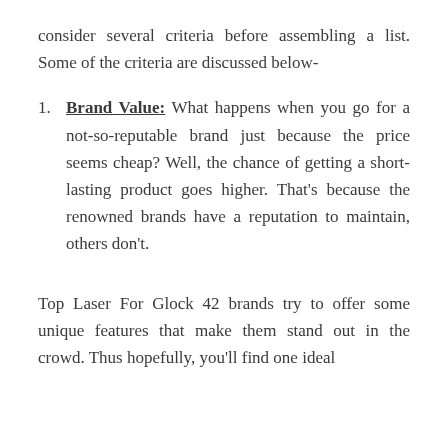consider several criteria before assembling a list. Some of the criteria are discussed below-
Brand Value: What happens when you go for a not-so-reputable brand just because the price seems cheap? Well, the chance of getting a short-lasting product goes higher. That's because the renowned brands have a reputation to maintain, others don't.
Top Laser For Glock 42 brands try to offer some unique features that make them stand out in the crowd. Thus hopefully, you'll find one ideal